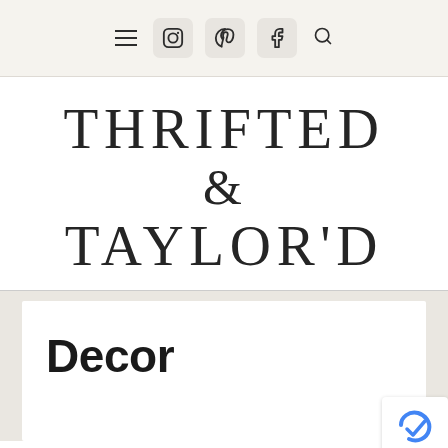Navigation bar with menu, Instagram, Pinterest, Facebook icons and search
THRIFTED & TAYLOR'D
Decor